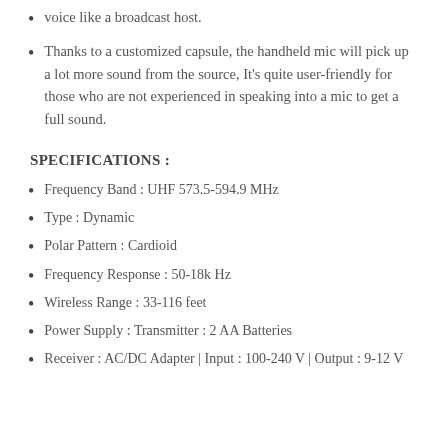voice like a broadcast host.
Thanks to a customized capsule, the handheld mic will pick up a lot more sound from the source, It's quite user-friendly for those who are not experienced in speaking into a mic to get a full sound.
SPECIFICATIONS :
Frequency Band : UHF 573.5-594.9 MHz
Type : Dynamic
Polar Pattern : Cardioid
Frequency Response : 50-18k Hz
Wireless Range : 33-116 feet
Power Supply : Transmitter : 2 AA Batteries
Receiver : AC/DC Adapter | Input : 100-240 V | Output : 9-12 V